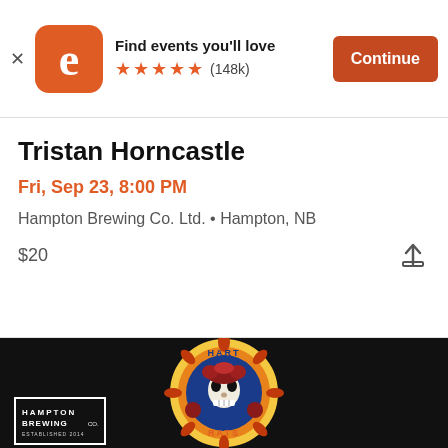Find events you'll love ★★★★★ (148k) Continue
Tristan Horncastle
Fri, Sep 23, 8:00 PM
Hampton Brewing Co. Ltd. • Hampton, NB
$20
[Figure (illustration): Circular band logo showing a skeleton with red roses and the text 'HART RATS' in psychedelic style, reminiscent of Grateful Dead artwork. On the left is the Hampton Brewing Co. logo on a black background.]